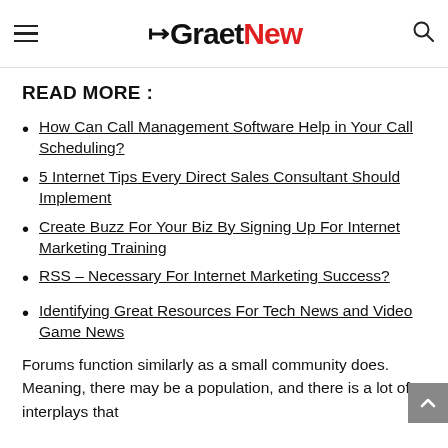GraetNew
READ MORE :
How Can Call Management Software Help in Your Call Scheduling?
5 Internet Tips Every Direct Sales Consultant Should Implement
Create Buzz For Your Biz By Signing Up For Internet Marketing Training
RSS – Necessary For Internet Marketing Success?
Identifying Great Resources For Tech News and Video Game News
Forums function similarly as a small community does. Meaning, there may be a population, and there is a lot of interplays that